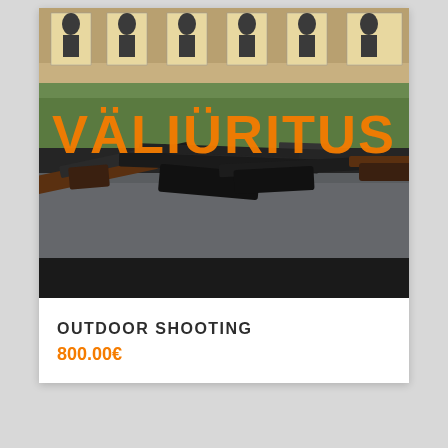[Figure (photo): Outdoor shooting range photo showing multiple rifles laid on a table in the foreground, with human silhouette targets on stands in the background. Orange bold text 'VÄLIÜRITUS' overlaid on the image.]
OUTDOOR SHOOTING
800.00€